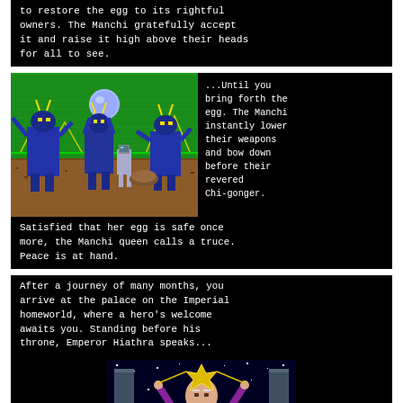to restore the egg to its rightful owners. The Manchi gratefully accept it and raise it high above their heads for all to see.
[Figure (illustration): Pixel art scene showing blue alien Manchi creatures holding a glowing orb/egg above their heads, with a small human astronaut figure among them, standing on a rocky surface with a green sky background and stylized mountain shapes.]
...Until you bring forth the egg. The Manchi instantly lower their weapons and bow down before their revered Chi-gonger.
Satisfied that her egg is safe once more, the Manchi queen calls a truce. Peace is at hand.
After a journey of many months, you arrive at the palace on the Imperial homeworld, where a hero's welcome awaits you. Standing before his throne, Emperor Hiathra speaks...
[Figure (illustration): Pixel art of an elderly wizard or emperor figure in purple robes with a long white beard, holding up a golden star-shaped crown above his head, standing before a starfield background with pillars on either side and control panels at the bottom.]